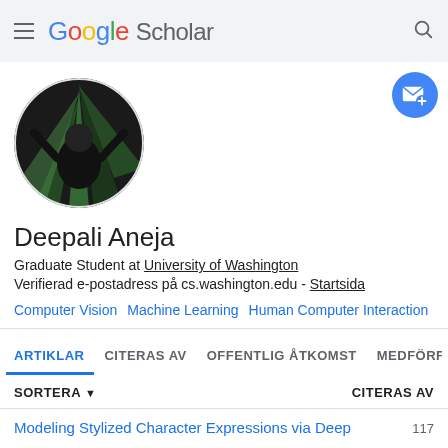Google Scholar
[Figure (photo): Circular profile photo of Deepali Aneja against a dark background with green lighting effects]
Deepali Aneja
Graduate Student at University of Washington
Verifierad e-postadress på cs.washington.edu - Startsida
Computer Vision
Machine Learning
Human Computer Interaction
ARTIKLAR  CITERAS AV  OFFENTLIG ÅTKOMST  MEDFÖRFAT
SORTERA ▾  CITERAS AV
Modeling Stylized Character Expressions via Deep  117